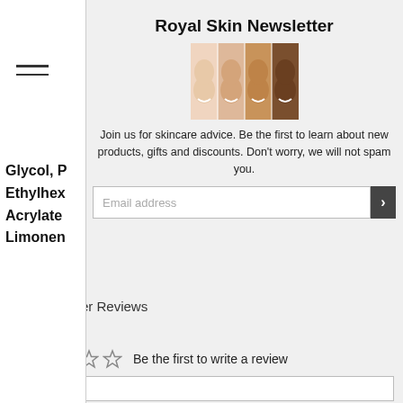Royal Skin Newsletter
[Figure (photo): Four women with different skin tones smiling side by side]
Join us for skincare advice. Be the first to learn about new products, gifts and discounts. Don't worry, we will not spam you.
Email address
Glycol, Pr Ethylhex Acrylate Limonene
[Figure (logo): Gift icon inside black circle — loyalty/rewards program button]
er Reviews
Be the first to write a review